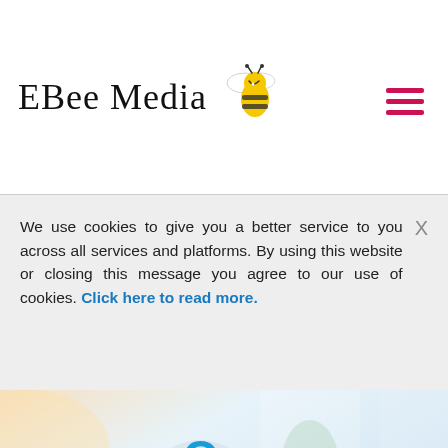EBee Media
We use cookies to give you a better service to you across all services and platforms. By using this website or closing this message you agree to our use of cookies. Click here to read more.
Our Services